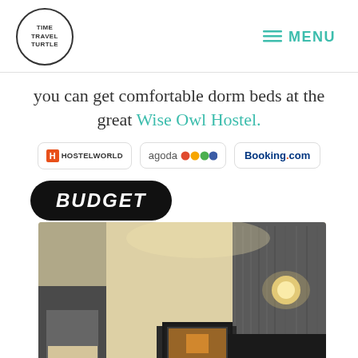[Figure (logo): Time Travel Turtle circular logo in header]
MENU
you can get comfortable dorm beds at the great Wise Owl Hostel.
[Figure (logo): Hostelworld, Agoda, and Booking.com booking platform logos in bordered boxes]
[Figure (other): Black rounded rectangle badge with white italic bold text reading BUDGET]
[Figure (photo): Photo of a budget hotel room with dark bed, TV on stand, wall lamp, and textured dark accent wall]